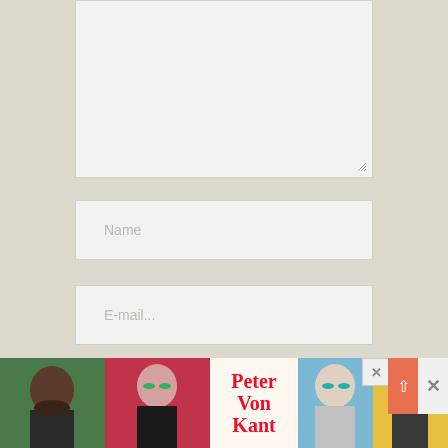[Figure (screenshot): A comment form textarea (large text input area) with resize handle at bottom right, on a beige/tan background]
[Figure (screenshot): A form input field with placeholder text 'Name' on a beige background]
[Figure (screenshot): A form input field with placeholder text 'E-mail...' on a beige background]
[Figure (screenshot): A form input field with placeholder text 'Website' on a beige background]
[Figure (screenshot): An advertisement banner at the bottom featuring pop-art style portraits and 'Peter Von Kant' text in red, with close (X) button and scroll-up button]